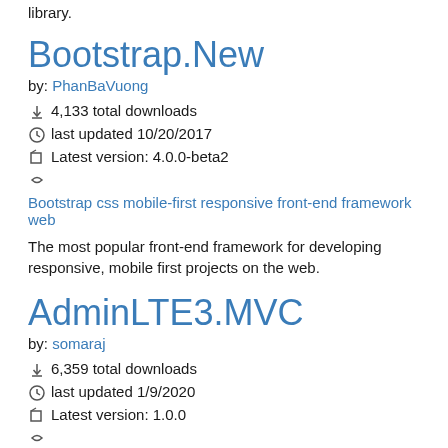library.
Bootstrap.New
by: PhanBaVuong
4,133 total downloads
last updated 10/20/2017
Latest version: 4.0.0-beta2
Bootstrap css mobile-first responsive front-end framework web
The most popular front-end framework for developing responsive, mobile first projects on the web.
AdminLTE3.MVC
by: somaraj
6,359 total downloads
last updated 1/9/2020
Latest version: 1.0.0
css responsive framework web mobile-first front-end admin admin-template dashboard